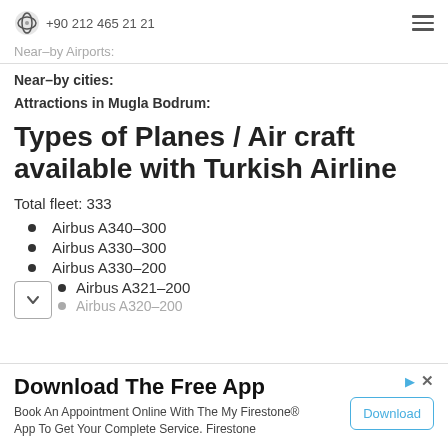+90 212 465 21 21
Near–by Airports:
Near–by cities:
Attractions in Mugla Bodrum:
Types of Planes / Air craft available with Turkish Airline
Total fleet: 333
Airbus A340–300
Airbus A330–300
Airbus A330–200
Airbus A321–200
Airbus A320–200
Download The Free App
Book An Appointment Online With The My Firestone® App To Get Your Complete Service. Firestone